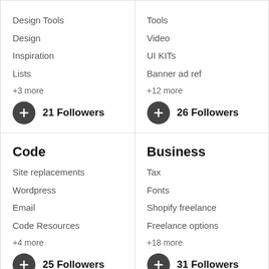Design Tools
Design
Inspiration
Lists
+3 more
21 Followers
Tools
Video
UI KITs
Banner ad ref
+12 more
26 Followers
Code
Site replacements
Wordpress
Email
Code Resources
+4 more
25 Followers
Business
Tax
Fonts
Shopify freelance
Freelance options
+18 more
31 Followers